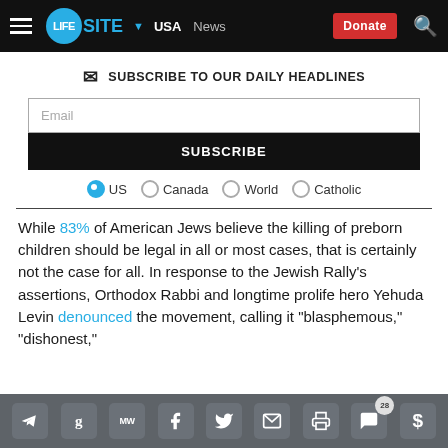LIFESITE | USA | News | Donate
SUBSCRIBE TO OUR DAILY HEADLINES
Email
SUBSCRIBE
US  Canada  World  Catholic
While 83% of American Jews believe the killing of preborn children should be legal in all or most cases, that is certainly not the case for all. In response to the Jewish Rally's assertions, Orthodox Rabbi and longtime prolife hero Yehuda Levin denounced the movement, calling it "blasphemous," "dishonest,"
Share icons: Telegram, Gab, MeWe, Facebook, Twitter, Email, Print, Comments (28), Donate